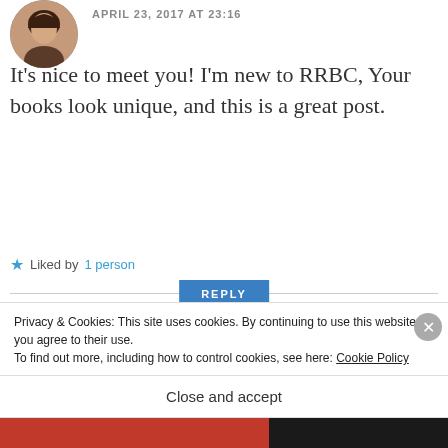APRIL 23, 2017 AT 23:16
It’s nice to meet you! I’m new to RRBC, Your books look unique, and this is a great post.
★ Liked by 1 person
REPLY
reviewsbynonnie
APRIL 24, 2017 AT 03:55
Privacy & Cookies: This site uses cookies. By continuing to use this website, you agree to their use.
To find out more, including how to control cookies, see here: Cookie Policy
Close and accept